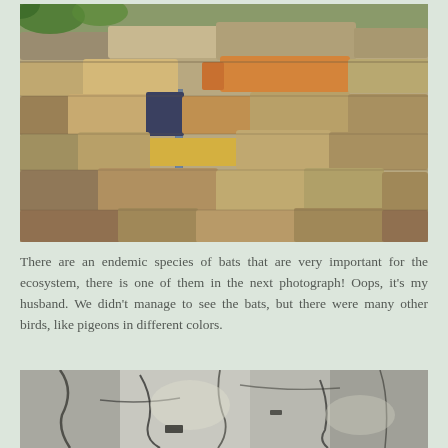[Figure (photo): Close-up photograph of a dry stone wall with various colored rocks — tan, grey, orange-tinted, and dark stones stacked together. Water appears to trickle between the stones in the lower center area. Some green vegetation visible at the top.]
There are an endemic species of bats that are very important for the ecosystem, there is one of them in the next photograph! Oops, it's my husband. We didn't manage to see the bats, but there were many other birds, like pigeons in different colors.
[Figure (photo): Close-up photograph of rough, textured rock surface with grey and white mottled stone, showing natural cracks and weathering patterns.]